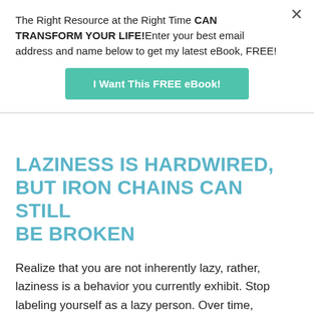The Right Resource at the Right Time CAN TRANSFORM YOUR LIFE!Enter your best email address and name below to get my latest eBook, FREE!
I Want This FREE eBook!
LAZINESS IS HARDWIRED, BUT IRON CHAINS CAN STILL BE BROKEN
Realize that you are not inherently lazy, rather, laziness is a behavior you currently exhibit. Stop labeling yourself as a lazy person. Over time, laziness grows on people because after all there’s certainty in all this laziness. While laziness may be hardwired within our brains...